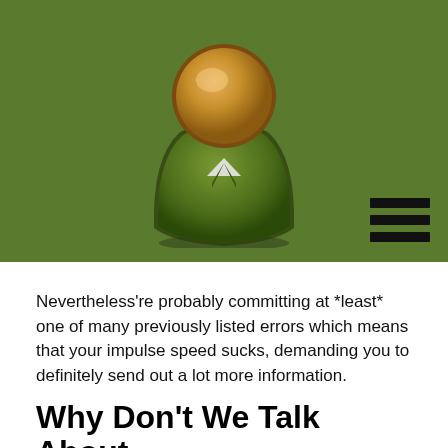[Figure (illustration): A person/avatar icon in olive green with a bronze/gold circular head, displayed on a green background. A hamburger menu icon (three horizontal black bars) is in the bottom-right of the green section.]
Nevertheless're probably committing at *least* one of many previously listed errors which means that your impulse speed sucks, demanding you to definitely send out a lot more information.
Why Don't We Talk About